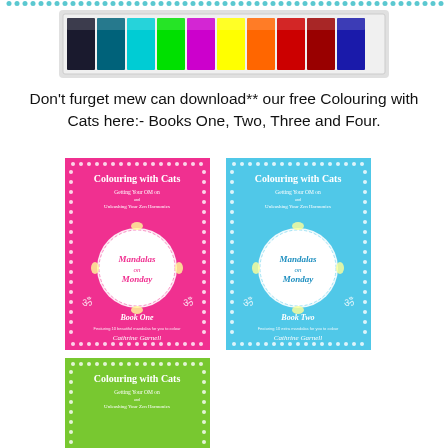[Figure (photo): A row of rainbow-colored metallic pencils or foil strips in a white tray, showing colors from dark to light spectrum]
Don't furget mew can download** our free Colouring with Cats here:- Books One, Two, Three and Four.
[Figure (photo): Book cover: Colouring with Cats - Getting Your OM on and Unleashing Your Zen Harmonics - Mandalas on Monday - Book One - pink background - Cathrine Garnell]
[Figure (photo): Book cover: Colouring with Cats - Getting Your OM on and Unleashing Your Zen Harmonics - Mandalas on Monday - Book Two - cyan/light blue background - Cathrine Garnell]
[Figure (photo): Book cover: Colouring with Cats - Getting Your OM on and Unleashing Your Zen Harmonics - green background - partially visible Book Three]